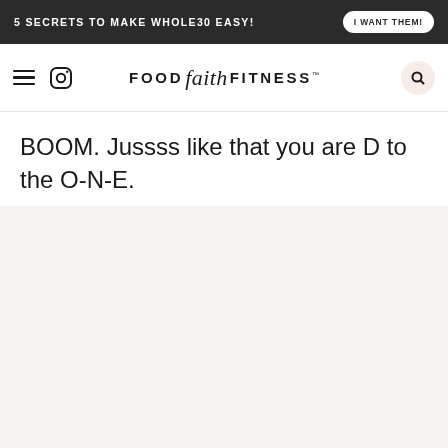5 SECRETS TO MAKE WHOLE30 EASY! | I WANT THEM!
FOOD faith FITNESS
BOOM. Jussss like that you are D to the O-N-E.
[Figure (photo): Light gray/beige placeholder image area]